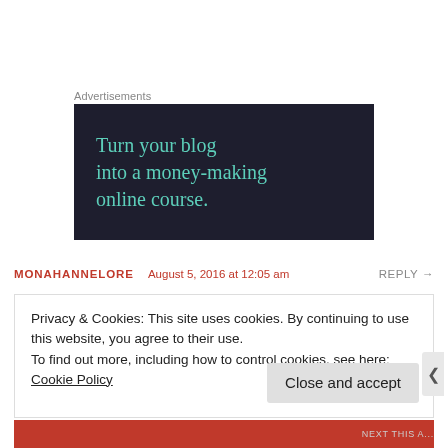Advertisements
[Figure (other): Dark navy advertisement banner with teal serif text reading: Turn your blog into a money-making online course.]
MONAHANNELORE   August 5, 2016 at 12:05 am   REPLY →
Privacy & Cookies: This site uses cookies. By continuing to use this website, you agree to their use.
To find out more, including how to control cookies, see here: Cookie Policy
Close and accept